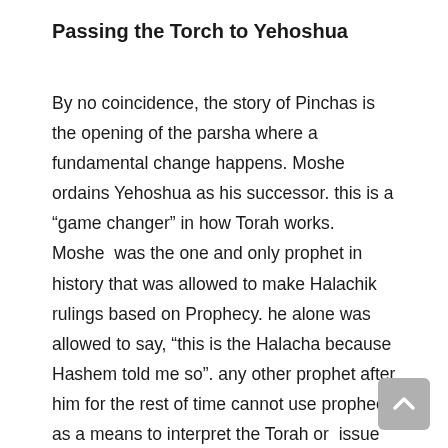Passing the Torch to Yehoshua
By no coincidence, the story of Pinchas is the opening of the parsha where a fundamental change happens. Moshe ordains Yehoshua as his successor. this is a “game changer” in how Torah works. Moshe  was the one and only prophet in history that was allowed to make Halachik rulings based on Prophecy. he alone was allowed to say, “this is the Halacha because Hashem told me so”. any other prophet after him for the rest of time cannot use prophecy as a means to interpret the Torah or  issue Halachik rulings. from Yehoshua and onwards, if the Halacha was not clearly handed down from generation to generation, then we must figure out the Halacha using the principles that the Torah is interpreted with and by derivation stemming from comparing and contrasting whatever Source